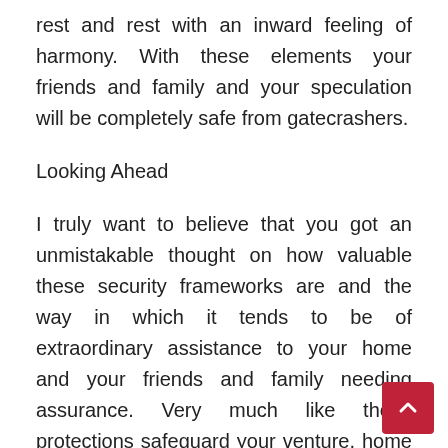rest and rest with an inward feeling of harmony. With these elements your friends and family and your speculation will be completely safe from gatecrashers.
Looking Ahead
I truly want to believe that you got an unmistakable thought on how valuable these security frameworks are and the way in which it tends to be of extraordinary assistance to your home and your friends and family needing assurance. Very much like these protections safeguard your venture, home security is additionally a speculation. It is a one time buy that permits you to keep your friends and family and resources completely safe, setting aside